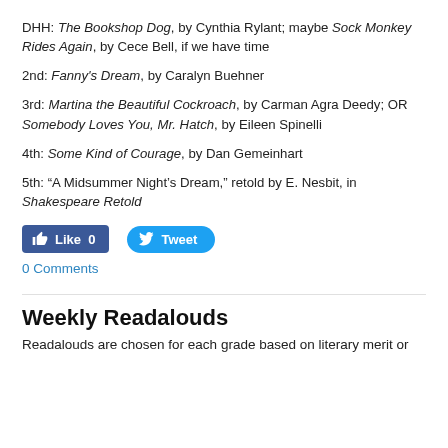DHH: The Bookshop Dog, by Cynthia Rylant; maybe Sock Monkey Rides Again, by Cece Bell, if we have time
2nd: Fanny's Dream, by Caralyn Buehner
3rd: Martina the Beautiful Cockroach, by Carman Agra Deedy; OR Somebody Loves You, Mr. Hatch, by Eileen Spinelli
4th: Some Kind of Courage, by Dan Gemeinhart
5th: “A Midsummer Night’s Dream,” retold by E. Nesbit, in Shakespeare Retold
Like 0   Tweet   0 Comments
Weekly Readalouds
Readalouds are chosen for each grade based on literary merit or